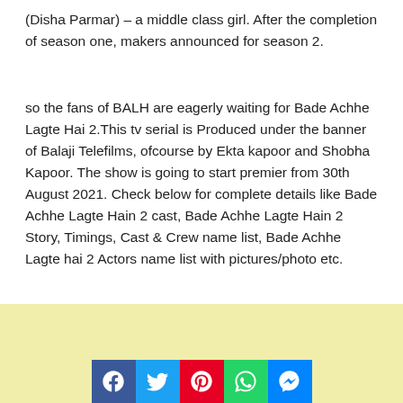(Disha Parmar) – a middle class girl. After the completion of season one, makers announced for season 2.
so the fans of BALH are eagerly waiting for Bade Achhe Lagte Hai 2.This tv serial is Produced under the banner of Balaji Telefilms, ofcourse by Ekta kapoor and Shobha Kapoor. The show is going to start premier from 30th August 2021. Check below for complete details like Bade Achhe Lagte Hain 2 cast, Bade Achhe Lagte Hain 2 Story, Timings, Cast & Crew name list, Bade Achhe Lagte hai 2 Actors name list with pictures/photo etc.
[Figure (other): Social share buttons: Facebook, Twitter, Pinterest, WhatsApp, Messenger]